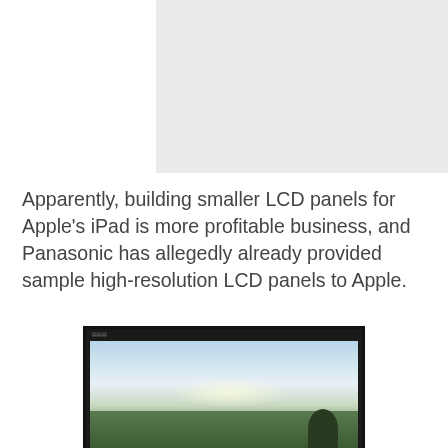[Figure (photo): Light grey placeholder rectangle representing an image at the top of the page]
Apparently, building smaller LCD panels for Apple’s iPad is more profitable business, and Panasonic has allegedly already provided sample high-resolution LCD panels to Apple.
[Figure (photo): Photograph of a widescreen monitor or TV display showing a landscape scene with sky, clouds, and trees (green hills), set against a black monitor frame]